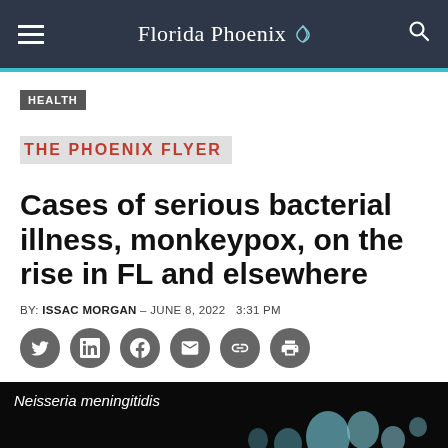Florida Phoenix
HEALTH
THE PHOENIX FLYER
Cases of serious bacterial illness, monkeypox, on the rise in FL and elsewhere
BY: ISSAC MORGAN – JUNE 8, 2022  3:31 PM
[Figure (photo): Dark microscopy image of Neisseria meningitidis bacteria, showing several round/oval shaped bacteria cells on a black background]
Neisseria meningitidis